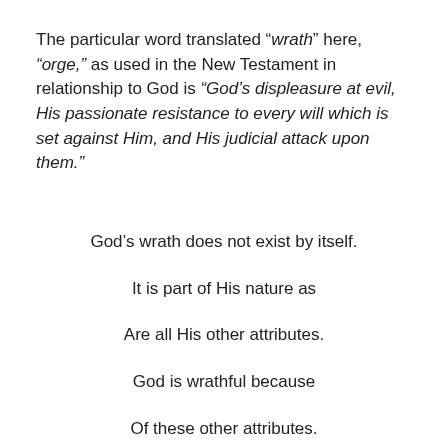The particular word translated “wrath” here, “orge,” as used in the New Testament in relationship to God is “God’s displeasure at evil, His passionate resistance to every will which is set against Him, and His judicial attack upon them.”
God’s wrath does not exist by itself.
It is part of His nature as
Are all His other attributes.
God is wrathful because
Of these other attributes.
God’s love does not